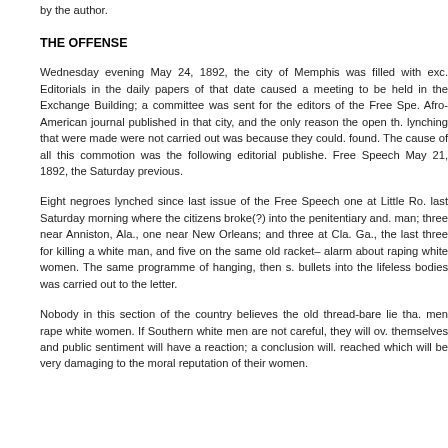by the author.
THE OFFENSE
Wednesday evening May 24, 1892, the city of Memphis was filled with exc. Editorials in the daily papers of that date caused a meeting to be held in the Exchange Building; a committee was sent for the editors of the Free Spe. Afro-American journal published in that city, and the only reason the open th. lynching that were made were not carried out was because they could. found. The cause of all this commotion was the following editorial publishe. Free Speech May 21, 1892, the Saturday previous.
Eight negroes lynched since last issue of the Free Speech one at Little Ro. last Saturday morning where the citizens broke(?) into the penitentiary and. man; three near Anniston, Ala., one near New Orleans; and three at Cla. Ga., the last three for killing a white man, and five on the same old racket– alarm about raping white women. The same programme of hanging, then s. bullets into the lifeless bodies was carried out to the letter.
Nobody in this section of the country believes the old thread-bare lie tha. men rape white women. If Southern white men are not careful, they will ov. themselves and public sentiment will have a reaction; a conclusion will. reached which will be very damaging to the moral reputation of their women.